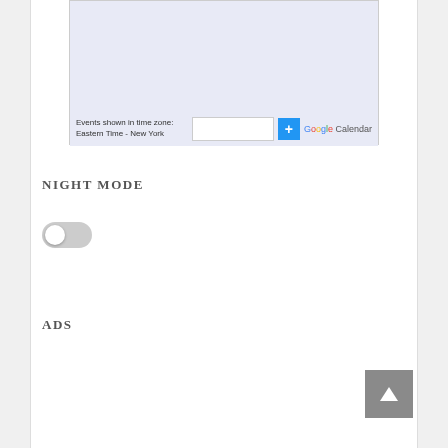[Figure (screenshot): Google Calendar embedded widget screenshot showing bottom portion with timezone notice 'Events shown in time zone: Eastern Time - New York' and Google Calendar logo with search box and + button]
NIGHT MODE
[Figure (other): Toggle switch in off/disabled state (gray)]
ADS
[Figure (other): Scroll-to-top button (gray square with upward arrow)]